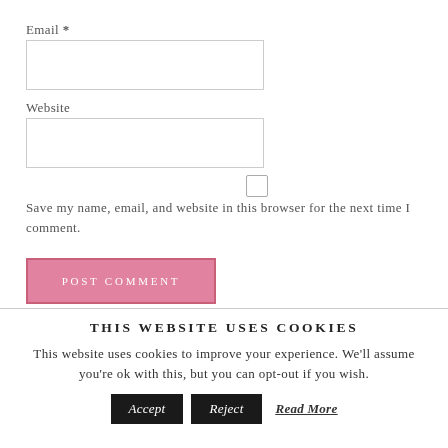Email *
Website
Save my name, email, and website in this browser for the next time I comment.
POST COMMENT
THIS WEBSITE USES COOKIES
This website uses cookies to improve your experience. We'll assume you're ok with this, but you can opt-out if you wish.
Accept
Reject
Read More